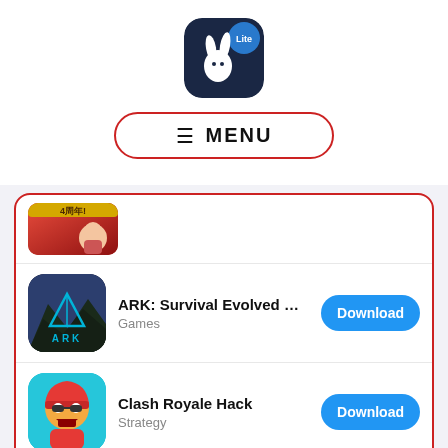[Figure (logo): White rabbit silhouette on dark navy background with 'Lite' badge in blue circle, app icon for a mobile app launcher]
≡ MENU
[Figure (screenshot): 4周年! (4th anniversary) banner app icon, partially visible at top of list]
ARK: Survival Evolved HA...
Games
Download
Clash Royale Hack
Strategy
Download